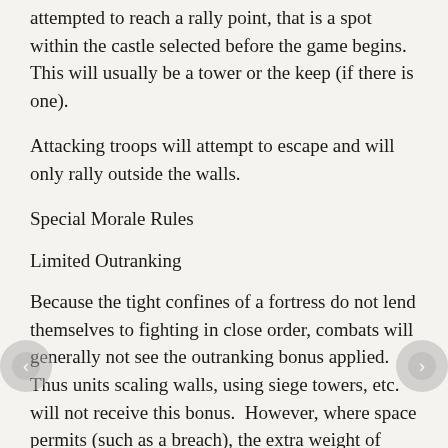attempted to reach a rally point, that is a spot within the castle selected before the game begins.  This will usually be a tower or the keep (if there is one).
Attacking troops will attempt to escape and will only rally outside the walls.
Special Morale Rules
Limited Outranking
Because the tight confines of a fortress do not lend themselves to fighting in close order, combats will generally not see the outranking bonus applied.  Thus units scaling walls, using siege towers, etc. will not receive this bonus.  However, where space permits (such as a breach), the extra weight of numbers will be felt.  The simple rule is: if both sides are